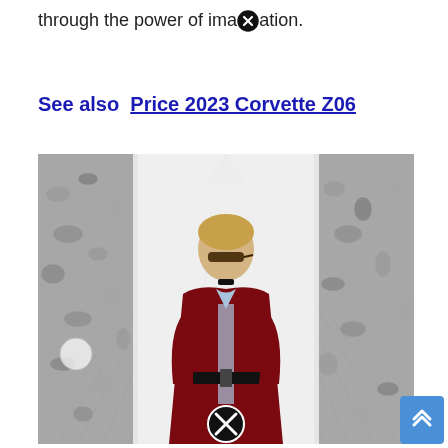through the power of imagination.
See also  Price 2023 Corvette Z06
[Figure (photo): A young man with blonde hair wearing sunglasses, a dark red/burgundy velvet blazer, light blue shirt, dark choker necklace, and a dark belt. He is standing in front of a white background with radiating stripes flanked by two large decorative floral/crystal columns. The overall aesthetic is high-fashion editorial.]